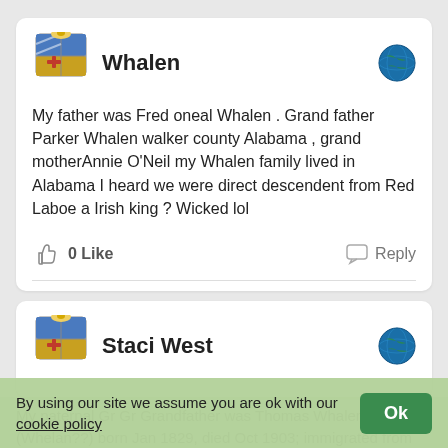Whalen
My father was Fred oneal Whalen . Grand father Parker Whalen walker county Alabama , grand motherAnnie O'Neil my Whalen family lived in Alabama I heard we were direct descendent from Red Laboe a Irish king ? Wicked lol
0 Like   Reply
Staci West
My paternal Gr Gr Grandfather was Thomas Whalen (Whelan??) born Jan 1829, died Oct 1903; immigrated from Ireland in 1849/1850, possibly through Philadelphia, PA (based on the DNA story given to me by ancestry). My DNA story says I am from Donegal, in northern Ireland.
By using our site we assume you are ok with our cookie policy
Ok